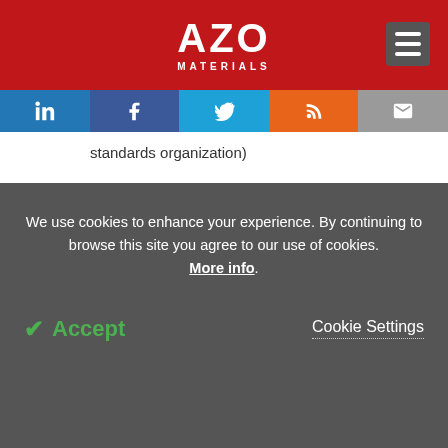AZO MATERIALS
[Figure (logo): AZO Materials logo on red background with hamburger menu icon]
[Figure (infographic): Social media sharing buttons row: LinkedIn, Facebook, Twitter/Google, RSS, Email]
standards organization)
Adapters and extension posts available for almost any extensometer.
Epsilon MODEL 3590 Digital Electronic Calibrators
We use cookies to enhance your experience. By continuing to browse this site you agree to our use of cookies. More info.
Accept   Cookie Settings